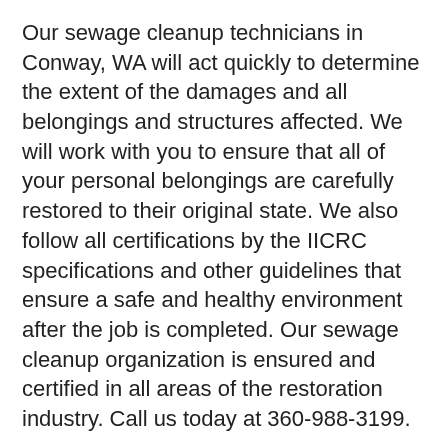Our sewage cleanup technicians in Conway, WA will act quickly to determine the extent of the damages and all belongings and structures affected. We will work with you to ensure that all of your personal belongings are carefully restored to their original state. We also follow all certifications by the IICRC specifications and other guidelines that ensure a safe and healthy environment after the job is completed. Our sewage cleanup organization is ensured and certified in all areas of the restoration industry. Call us today at 360-988-3199.
Our sewage cleanup crews always follow very strict guidelines and measures to make certain you get the greatest care for your home or business. We cannot say enough just how important it is that the customer's health and safety is a top priority. It is for this reason that our sewage cleanup organization in Conway utilizes the the very best equipment to sanitize and clean up the entire affected